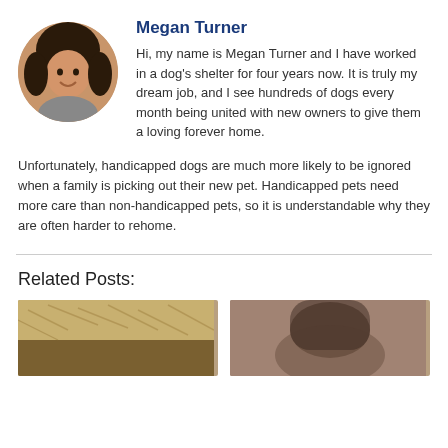[Figure (photo): Circular profile photo of Megan Turner, a smiling woman with dark hair]
Megan Turner
Hi, my name is Megan Turner and I have worked in a dog's shelter for four years now. It is truly my dream job, and I see hundreds of dogs every month being united with new owners to give them a loving forever home.
Unfortunately, handicapped dogs are much more likely to be ignored when a family is picking out their new pet. Handicapped pets need more care than non-handicapped pets, so it is understandable why they are often harder to rehome.
Related Posts:
[Figure (photo): Partial image of a dog, fur visible, related post thumbnail]
[Figure (photo): Partial image of a dog or person, related post thumbnail]